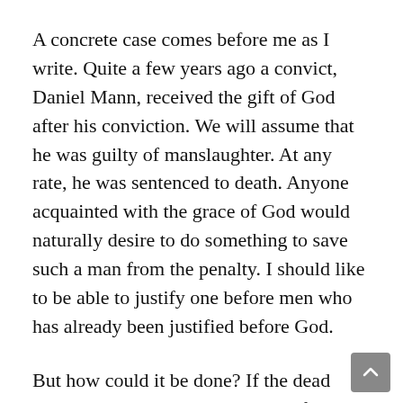A concrete case comes before me as I write. Quite a few years ago a convict, Daniel Mann, received the gift of God after his conviction. We will assume that he was guilty of manslaughter. At any rate, he was sentenced to death. Anyone acquainted with the grace of God would naturally desire to do something to save such a man from the penalty. I should like to be able to justify one before men who has already been justified before God.
But how could it be done? If the dead victim could be brought back to life and his temporary death proven to be an actual benefit to him as well as to all others affected by it, even an earthly judge would revise his decision. Why condemn a man for doing what eventuated in...